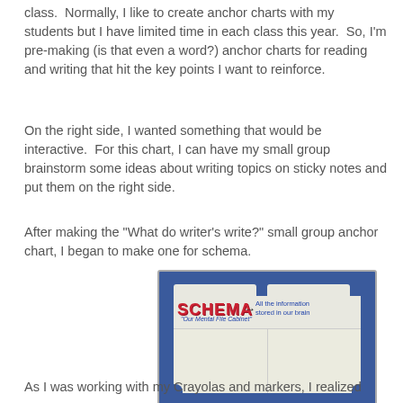class.  Normally, I like to create anchor charts with my students but I have limited time in each class this year.  So, I'm pre-making (is that even a word?) anchor charts for reading and writing that hit the key points I want to reinforce.
On the right side, I wanted something that would be interactive.  For this chart, I can have my small group brainstorm some ideas about writing topics on sticky notes and put them on the right side.
After making the "What do writer's write?" small group anchor chart, I began to make one for schema.
[Figure (photo): Photo of a handmade anchor chart shaped like a file folder on blue background. The word SCHEMA is written in large red block letters with an arrow pointing to the text 'All the information stored in our brain'. Below SCHEMA is written '"Our Mental File Cabinet"'. The folder has two open pages below the header area.]
As I was working with my Crayolas and markers, I realized